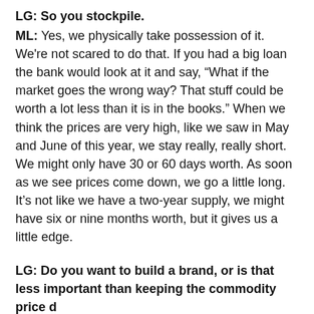LG: So you stockpile.
ML: Yes, we physically take possession of it. We're not scared to do that. If you had a big loan the bank would look at it and say, “What if the market goes the wrong way? That stuff could be worth a lot less than it is in the books.” When we think the prices are very high, like we saw in May and June of this year, we stay really, really short. We might only have 30 or 60 days worth. As soon as we see prices come down, we go a little long. It’s not like we have a two-year supply, we might have six or nine months worth, but it gives us a little edge.
LG: Do you want to build a brand, or is that less important than keeping the commodity price d…
ML: I think if we had the choice to spend our res… on building the brand or to spend resources to take…